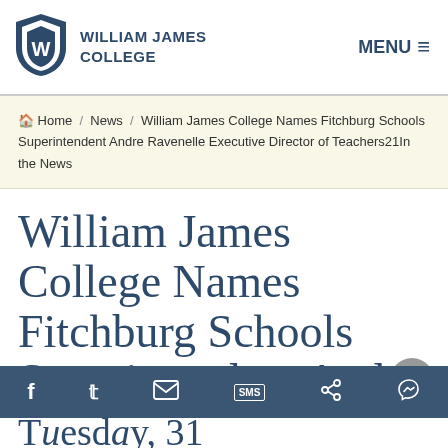William James College | MENU
Home / News / William James College Names Fitchburg Schools Superintendent Andre Ravenelle Executive Director of Teachers21In the News
William James College Names Fitchburg Schools Superintendent Andre Ravenelle